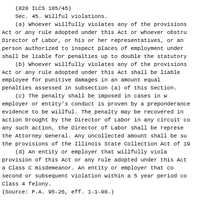(820 ILCS 185/45)
Sec. 45. Willful violations.
    (a) Whoever willfully violates any of the provisions of this Act or any rule adopted under this Act or whoever obstructs the Director of Labor, or his or her representatives, or any other person authorized to inspect places of employment under this Act shall be liable for penalties up to double the statutory amount.
    (b) Whoever willfully violates any of the provisions of this Act or any rule adopted under this Act shall be liable to the employee for punitive damages in an amount equal to the penalties assessed in subsection (a) of this Section.
    (c) The penalty shall be imposed in cases in which an employer or entity's conduct is proven by a preponderance of the evidence to be willful. The penalty may be recovered in a civil action brought by the Director of Labor in any circuit court. In any such action, the Director of Labor shall be represented by the Attorney General. Any uncollected amount shall be subject to the provisions of the Illinois State Collection Act of 1986.
    (d) An entity or employer that willfully violates any provision of this Act or any rule adopted under this Act is guilty of a Class C misdemeanor. An entity or employer that commits a second or subsequent violation within a 5 year period commits a Class 4 felony.
(Source: P.A. 95-26, eff. 1-1-08.)